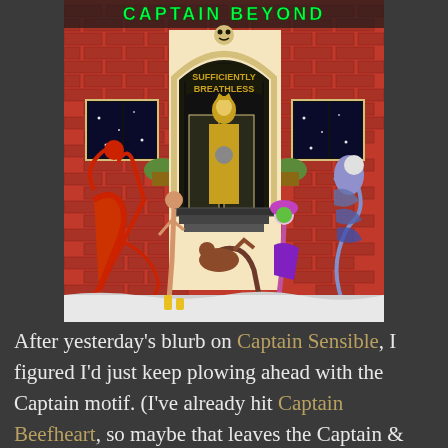[Figure (illustration): Album cover art for 'Sufficiently Breathless' by Captain Beyond. Shows a brick building facade with an arched doorway labeled 'SUFFICIENTLY BREATHLESS' and 'CAPTAIN BEYOND' in neon text at top. Various fantastical characters stand outside including a red demonic figure on left, a cloaked golden figure in the doorway, a colorful female figure and a swirling alien figure on the right. Stars visible through windows.]
After yesterday's blurb on Captain Sensible, I figured I'd just keep plowing ahead with the Captain motif. (I've already hit Captain Beefheart, so maybe that leaves the Captain &